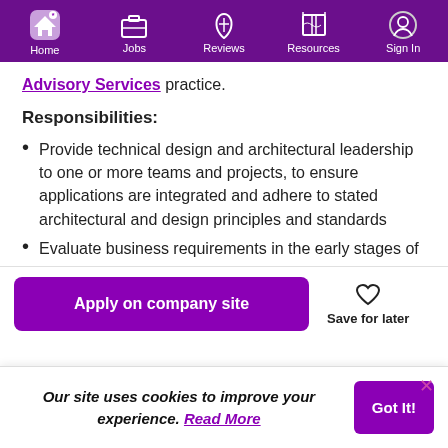Home | Jobs | Reviews | Resources | Sign In
Advisory Services practice.
Responsibilities:
Provide technical design and architectural leadership to one or more teams and projects, to ensure applications are integrated and adhere to stated architectural and design principles and standards
Evaluate business requirements in the early stages of
Apply on company site
Save for later
Our site uses cookies to improve your experience. Read More
Got It!